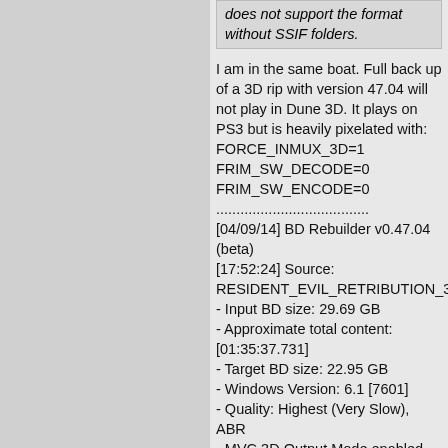does not support the format without SSIF folders.
I am in the same boat. Full back up of a 3D rip with version 47.04 will not play in Dune 3D. It plays on PS3 but is heavily pixelated with:
FORCE_INMUX_3D=1
FRIM_SW_DECODE=0
FRIM_SW_ENCODE=0
......................................
[04/09/14] BD Rebuilder v0.47.04 (beta)
[17:52:24] Source: RESIDENT_EVIL_RETRIBUTION_3D
- Input BD size: 29.69 GB
- Approximate total content: [01:35:37.731]
- Target BD size: 22.95 GB
- Windows Version: 6.1 [7601]
- Quality: Highest (Very Slow), ABR
- MVC 3D Output Mode enabled
- Decoding/Frame serving: FRIMDecode
- Audio Settings: AC3=0 DTS=0 HD=1 Kbs=640
[17:52:24] PHASE ONE, Encoding
- [17:52:24] Processing: VID_00000 (1 of 1)
- AT 52 24] Encoding 1 0 1